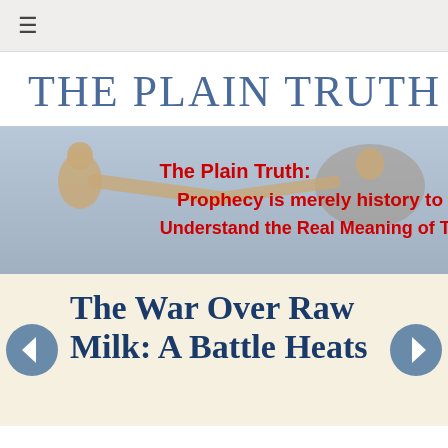≡
THE PLAIN TRUTH
[Figure (illustration): Banner image showing Michelangelo's Creation of Adam from the Sistine Chapel with red bold text overlay reading: 'The Plain Truth: Prophecy is merely history to Understand the Real Meaning of To']
The War Over Raw Milk: A Battle Heats